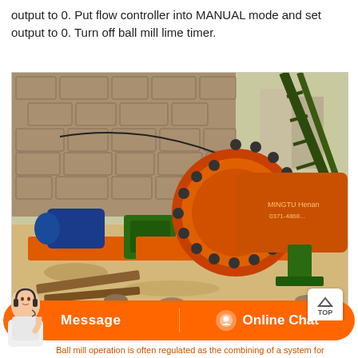output to 0. Put flow controller into MANUAL mode and set output to 0. Turn off ball mill lime timer.
[Figure (photo): Outdoor industrial ball mill machine in orange color with a large gear wheel, blue electric motor on the left, green gearbox, mounted on orange base frames. Stone wall background, industrial mining equipment setup.]
Ball mill operation is often regulated as the combining of a system for